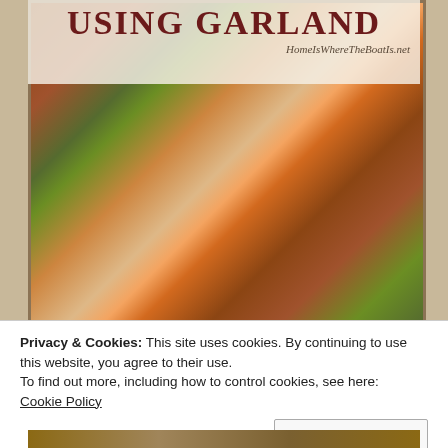[Figure (photo): Autumn harvest tablescape photo showing white mini pumpkins on the left, pine cones and dried wheat grass in the center, and orange/green gourds on the right, all arranged on a plaid tablecloth. Overlaid with semi-transparent white banner at top reading 'USING GARLAND' and website URL 'HomeIsWhereTheBoatIs.net']
USING GARLAND
HomeIsWhereTheBoatIs.net
Privacy & Cookies: This site uses cookies. By continuing to use this website, you agree to their use.
To find out more, including how to control cookies, see here:
Cookie Policy
Close and accept